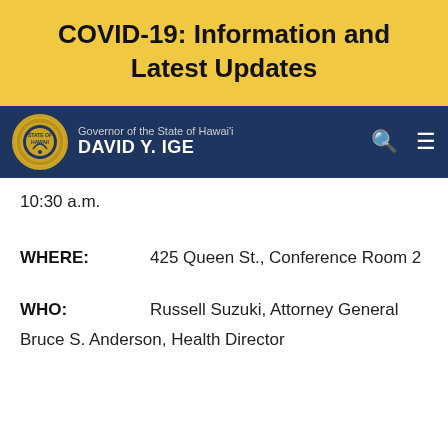COVID-19: Information and Latest Updates
Governor of the State of Hawai'i DAVID Y. IGE
10:30 a.m.
WHERE: 425 Queen St., Conference Room 2
WHO: Russell Suzuki, Attorney General
Bruce S. Anderson, Health Director